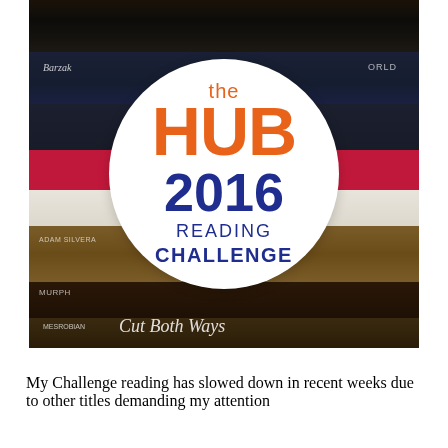[Figure (photo): A stack of Young Adult books photographed from above with a circular white logo overlay in the center reading 'the HUB 2016 READING CHALLENGE' in orange and dark blue text. Visible book spines include authors Barzak, Adam Silvera, Murphy, and Mesrobian with title 'Cut Both Ways'.]
My Challenge reading has slowed down in recent weeks due to other titles demanding my attention